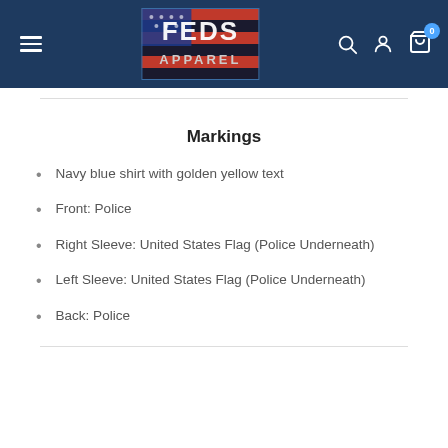FEDS APPAREL
Markings
Navy blue shirt with golden yellow text
Front: Police
Right Sleeve: United States Flag (Police Underneath)
Left Sleeve: United States Flag (Police Underneath)
Back: Police